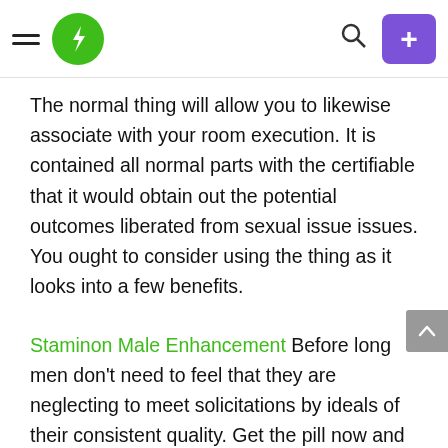[Figure (other): Website header with hamburger menu icon, green lightning bolt logo, search icon, and purple plus button]
The normal thing will allow you to likewise associate with your room execution. It is contained all normal parts with the certifiable that it would obtain out the potential outcomes liberated from sexual issue issues. You ought to consider using the thing as it looks into a few benefits.
Staminon Male Enhancement Before long men don't need to feel that they are neglecting to meet solicitations by ideals of their consistent quality. Get the pill now and we can promise you that, you will be in a sensible space, and your show with your adornment will turn out to be without a doubt moved